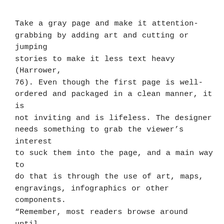Take a gray page and make it attention-grabbing by adding art and cutting or jumping stories to make it less text heavy (Harrower, 76). Even though the first page is well-ordered and packaged in a clean manner, it is not inviting and is lifeless. The designer needs something to grab the viewer's interest to suck them into the page, and a main way to do that is through the use of art, maps, engravings, infographics or other components. “Remember, most readers browse around until something compels them to stop. By adding photos, maps or charts, you catch their interest–then deliver the information” (Harrower, 76).